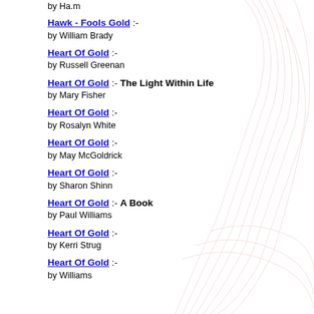by Ha.m
Hawk - Fools Gold :- by William Brady
Heart Of Gold :- by Russell Greenan
Heart Of Gold :- The Light Within Life by Mary Fisher
Heart Of Gold :- by Rosalyn White
Heart Of Gold :- by May McGoldrick
Heart Of Gold :- by Sharon Shinn
Heart Of Gold :- A Book by Paul Williams
Heart Of Gold :- by Kerri Strug
Heart Of Gold :- by Williams